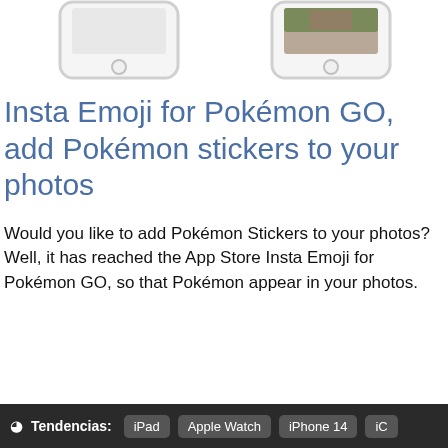[Figure (illustration): Two iPhone mockups shown at the top of the page, one on the left with a blank screen, one on the right with a photo visible on screen]
Insta Emoji for Pokémon GO, add Pokémon stickers to your photos
Would you like to add Pokémon Stickers to your photos? Well, it has reached the App Store Insta Emoji for Pokémon GO, so that Pokémon appear in your photos.
Tendencias: iPad  Apple Watch  iPhone 14  iC